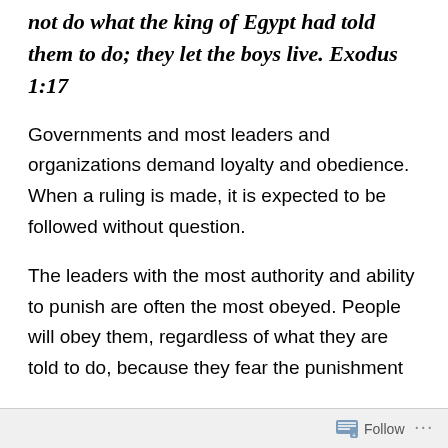not do what the king of Egypt had told them to do; they let the boys live. Exodus 1:17
Governments and most leaders and organizations demand loyalty and obedience. When a ruling is made, it is expected to be followed without question.
The leaders with the most authority and ability to punish are often the most obeyed. People will obey them, regardless of what they are told to do, because they fear the punishment